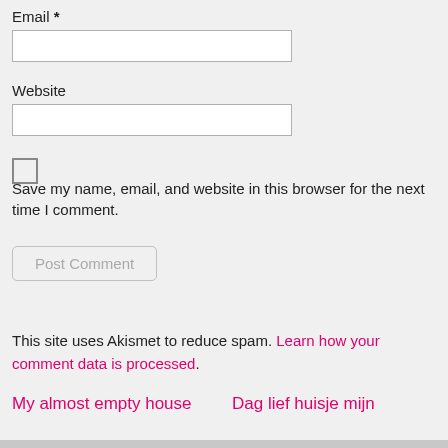Email *
Website
Save my name, email, and website in this browser for the next time I comment.
Post Comment
This site uses Akismet to reduce spam. Learn how your comment data is processed.
My almost empty house
Dag lief huisje mijn